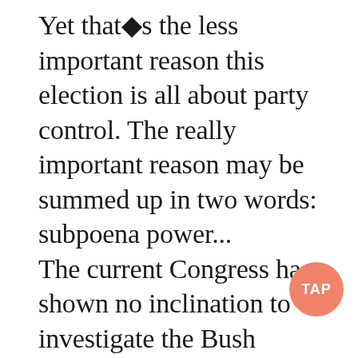Yet that◆s the less important reason this election is all about party control. The really important reason may be summed up in two words: subpoena power... The current Congress has shown no inclination to investigate the Bush administration. Last year The Boston Globe offered an illuminating comparison: